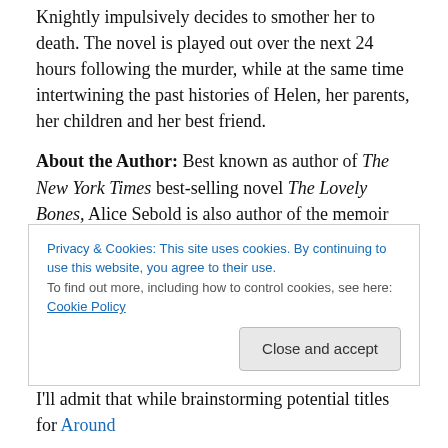Knightly impulsively decides to smother her to death. The novel is played out over the next 24 hours following the murder, while at the same time intertwining the past histories of Helen, her parents, her children and her best friend.
About the Author: Best known as author of The New York Times best-selling novel The Lovely Bones, Alice Sebold is also author of the memoir Lucky (about her experiences as a rape survivor during her freshman year at Syracuse University). She is a graduate of the MFA
Privacy & Cookies: This site uses cookies. By continuing to use this website, you agree to their use. To find out more, including how to control cookies, see here: Cookie Policy
I'll admit that while brainstorming potential titles for Around